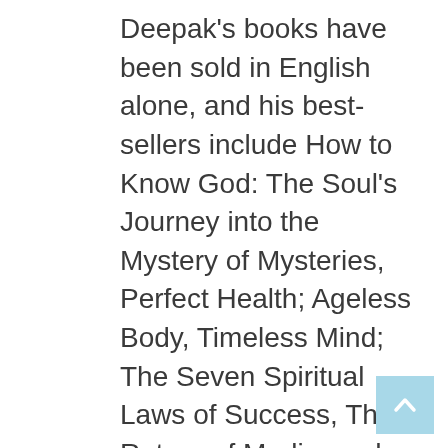Deepak's books have been sold in English alone, and his best-sellers include How to Know God: The Soul's Journey into the Mystery of Mysteries, Perfect Health; Ageless Body, Timeless Mind; The Seven Spiritual Laws of Success, The Return of Merlin, and The Path to Love. Chopra has published numerous books focusing on health issues that include The Chopra Center Herbal Handbook: Forty Natural Prescriptions for Perfect Health; Perfect Weight: The Complete Mind / Body Program For Achieving and Maintaining Your Ideal Weight; Restful